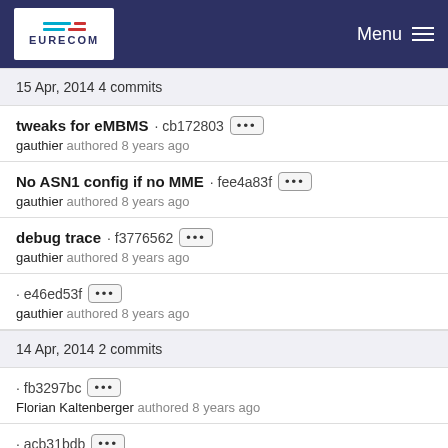EURECOM  Menu
15 Apr, 2014 4 commits
tweaks for eMBMS · cb172803 ··· gauthier authored 8 years ago
No ASN1 config if no MME · fee4a83f ··· gauthier authored 8 years ago
debug trace · f3776562 ··· gauthier authored 8 years ago
· e46ed53f ··· gauthier authored 8 years ago
14 Apr, 2014 2 commits
· fb3297bc ··· Florian Kaltenberger authored 8 years ago
· acb31bdb ···